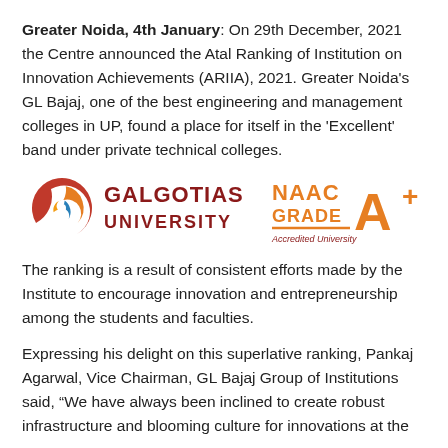Greater Noida, 4th January: On 29th December, 2021 the Centre announced the Atal Ranking of Institution on Innovation Achievements (ARIIA), 2021. Greater Noida's GL Bajaj, one of the best engineering and management colleges in UP, found a place for itself in the 'Excellent' band under private technical colleges.
[Figure (logo): Galgotias University logo with swirl emblem and NAAC Grade A+ Accredited University badge]
The ranking is a result of consistent efforts made by the Institute to encourage innovation and entrepreneurship among the students and faculties.
Expressing his delight on this superlative ranking, Pankaj Agarwal, Vice Chairman, GL Bajaj Group of Institutions said, "We have always been inclined to create robust infrastructure and blooming culture for innovations at the